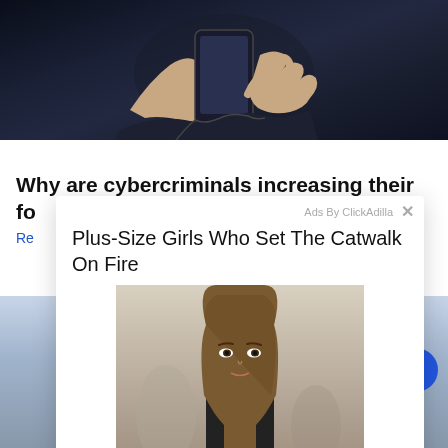[Figure (photo): Hands holding a smartphone against a dark background]
Why are cybercriminals increasing their fo
Re
[Figure (infographic): Ad overlay from ClickAdilla showing 'Plus-Size Girls Who Set The Catwalk On Fire' with a photo of a woman with long brown hair]
[Figure (photo): City skyline background image at bottom of page]